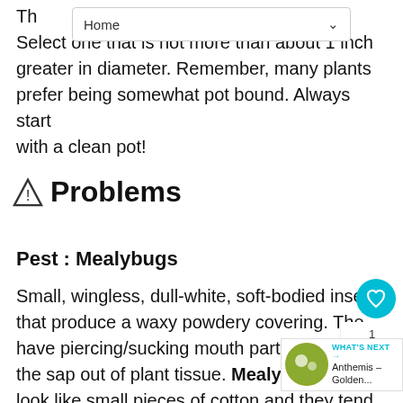Home
Select one that is not more than about 1 inch greater in diameter. Remember, many plants prefer being somewhat pot bound. Always start with a clean pot!
⚠ Problems
Pest : Mealybugs
Small, wingless, dull-white, soft-bodied insects that produce a waxy powdery covering. They have piercing/sucking mouth parts that suck the sap out of plant tissue. Mealybugs look like small pieces of cotton and they tend to congregate where leaves and stems branch